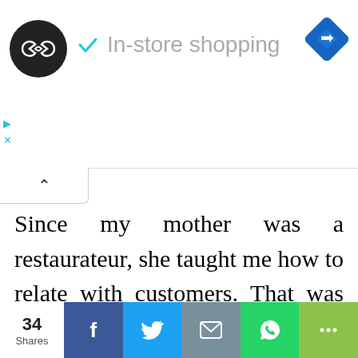[Figure (screenshot): Ad banner with circular logo (double infinity symbol on black), checkmark icon, 'In-store shopping' text, blue diamond navigation icon on right, and small play/close icons on left]
Since my mother was a restaurateur, she taught me how to relate with customers. That was where I learnt how to communicate with people and be an all-around individual. It has helped me so much as
We use cookies on our website to give you the most relevant experience by remembering your preferences and repeat visits. By clicking "Accept All", you consent to the use of ALL the cookies. However, you may visit "Cookie Settings" to provide a controlled consent.
34
Shares